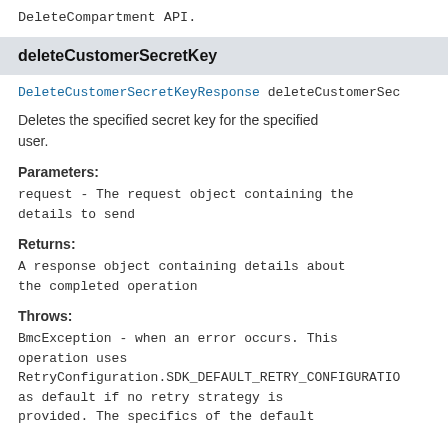DeleteCompartment API.
deleteCustomerSecretKey
DeleteCustomerSecretKeyResponse deleteCustomerSec
Deletes the specified secret key for the specified user.
Parameters:
request - The request object containing the details to send
Returns:
A response object containing details about the completed operation
Throws:
BmcException - when an error occurs. This operation uses RetryConfiguration.SDK_DEFAULT_RETRY_CONFIGURATIO as default if no retry strategy is provided. The specifics of the default